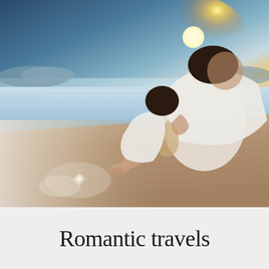[Figure (photo): A couple dressed in white sitting on a wooden dock by an infinity pool at sunset, embracing each other while looking at a golden orange sunset over calm water with distant hills]
Romantic travels